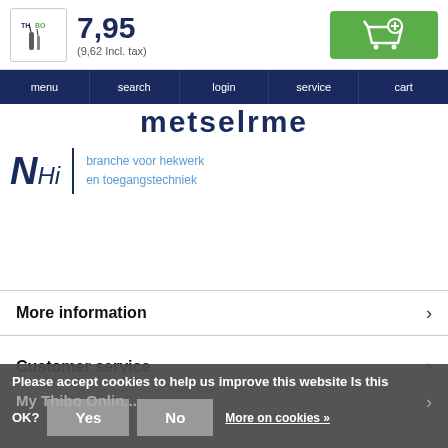[Figure (screenshot): Product thumbnail showing THIBO branded remote control device]
7,95
(9,62 Incl. tax)
[Figure (illustration): Green add-to-cart button with shopping cart icon]
menu   search   login   service   cart
metselrme (partial)
[Figure (logo): NHI logo with text: branche voor hekwerk en toegangstechniek]
More information
Customer service
My Thibo Onli... (partially visible)
Please accept cookies to help us improve this website Is this
OK?   Yes   No   More on cookies »
Conta... (partially visible)